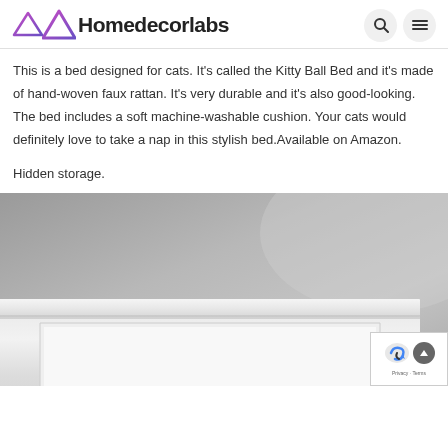Homedecorlabs
This is a bed designed for cats. It’s called the Kitty Ball Bed and it’s made of hand-woven faux rattan. It’s very durable and it’s also good-looking. The bed includes a soft machine-washable cushion. Your cats would definitely love to take a nap in this stylish bed.Available on Amazon.
Hidden storage.
[Figure (photo): A white wooden headboard or furniture piece photographed against a grey wall, showing decorative molding detail.]